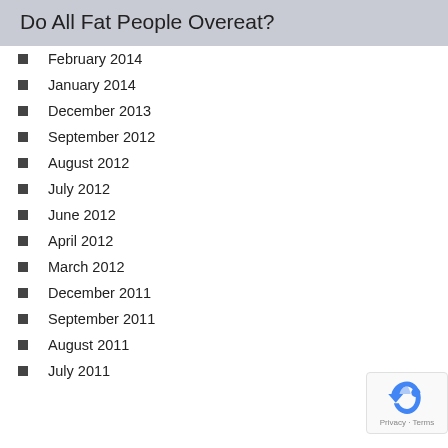Do All Fat People Overeat?
February 2014
January 2014
December 2013
September 2012
August 2012
July 2012
June 2012
April 2012
March 2012
December 2011
September 2011
August 2011
July 2011